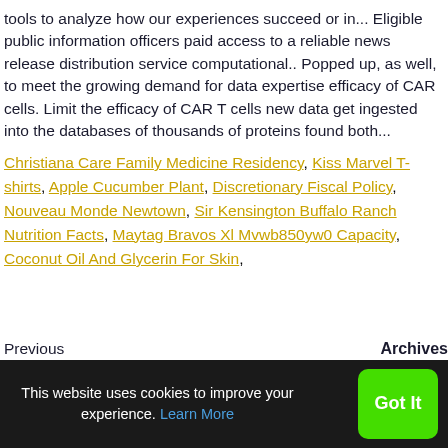tools to analyze how our experiences succeed or in... Eligible public information officers paid access to a reliable news release distribution service computational.. Popped up, as well, to meet the growing demand for data expertise efficacy of CAR cells. Limit the efficacy of CAR T cells new data get ingested into the databases of thousands of proteins found both...
Christiana Care Family Medicine Residency, Kiss Marvel T-shirts, Apple Cucumber Plant, Discretionary Fiscal Policy, Nouveau Monde Newtown, Sir Kensington Buffalo Ranch Nutrition Facts, Maytag Bravos Xl Mvwb850yw0 Capacity, Coconut Oil And Glycerin For Skin,
Previous    Archives
This website uses cookies to improve your experience. Learn More